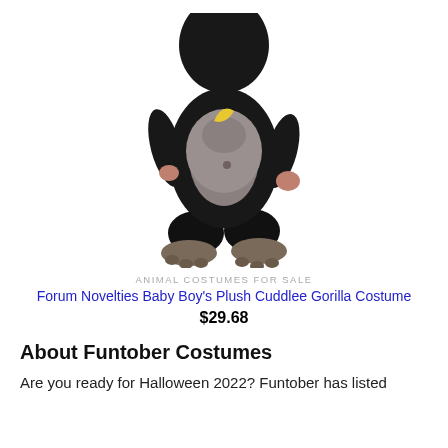[Figure (photo): Child wearing a black plush gorilla costume with gray belly and gorilla feet, holding a stuffed gorilla with a yellow banana, white background.]
ANIMAL COSTUMES FOR SALE
Forum Novelties Baby Boy's Plush Cuddlee Gorilla Costume
$29.68
About Funtober Costumes
Are you ready for Halloween 2022? Funtober has listed